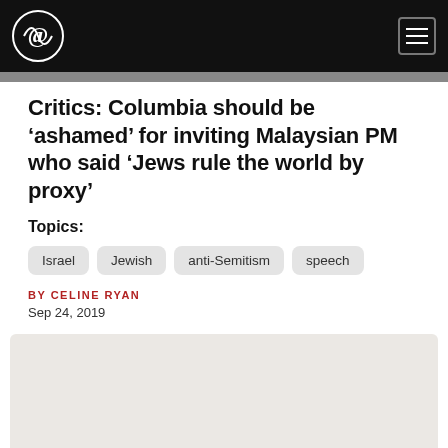Navigation bar with logo and hamburger menu
Critics: Columbia should be ‘ashamed’ for inviting Malaysian PM who said ‘Jews rule the world by proxy’
Topics:
Israel
Jewish
anti-Semitism
speech
BY CELINE RYAN
Sep 24, 2019
[Figure (other): Advertisement placeholder box with light beige background]